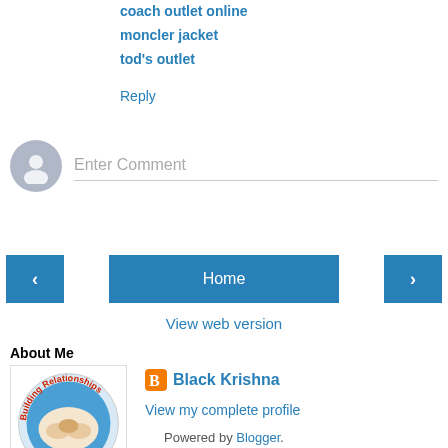coach outlet online
moncler jacket
tod's outlet
Reply
[Figure (other): User avatar placeholder circle icon for comment entry, with Enter Comment placeholder text]
[Figure (other): Navigation buttons: left arrow, Home, right arrow]
View web version
About Me
[Figure (logo): Building Relationships circular logo with clasped hands]
Black Krishna
View my complete profile
Powered by Blogger.